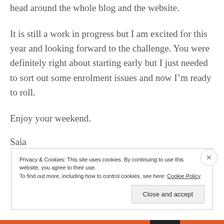head around the whole blog and the website.
It is still a work in progress but I am excited for this year and looking forward to the challenge. You were definitely right about starting early but I just needed to sort out some enrolment issues and now I'm ready to roll.
Enjoy your weekend.
Saia
Privacy & Cookies: This site uses cookies. By continuing to use this website, you agree to their use.
To find out more, including how to control cookies, see here: Cookie Policy